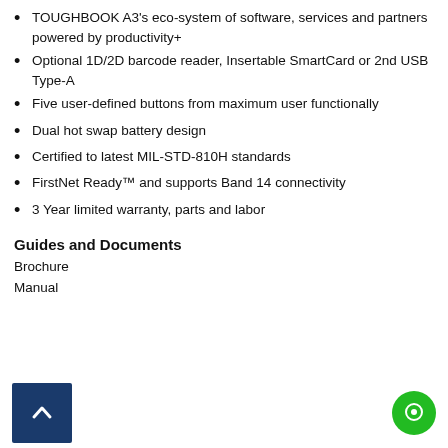TOUGHBOOK A3's eco-system of software, services and partners powered by productivity+
Optional 1D/2D barcode reader, Insertable SmartCard or 2nd USB Type-A
Five user-defined buttons from maximum user functionally
Dual hot swap battery design
Certified to latest MIL-STD-810H standards
FirstNet Ready™ and supports Band 14 connectivity
3 Year limited warranty, parts and labor
Guides and Documents
Brochure
Manual